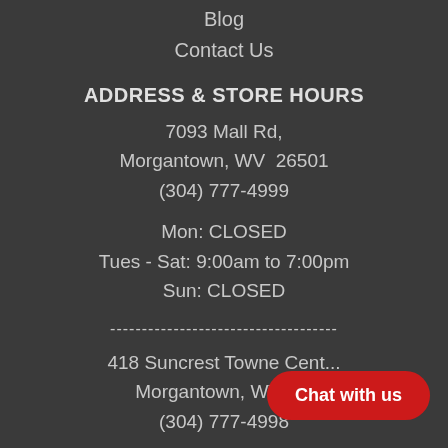Blog
Contact Us
ADDRESS & STORE HOURS
7093 Mall Rd,
Morgantown, WV  26501
(304) 777-4999
Mon: CLOSED
Tues - Sat: 9:00am to 7:00pm
Sun: CLOSED
------------------------------------
418 Suncrest Towne Cent...
Morgantown, WV 2...
(304) 777-4998
Chat with us